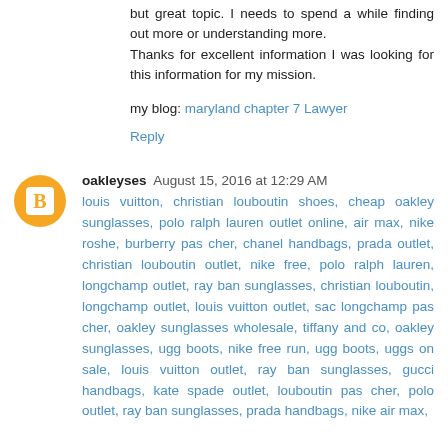but great topic. I needs to spend a while finding out more or understanding more.
Thanks for excellent information I was looking for this information for my mission.
my blog: maryland chapter 7 Lawyer
Reply
oakleyses  August 15, 2016 at 12:29 AM
louis vuitton, christian louboutin shoes, cheap oakley sunglasses, polo ralph lauren outlet online, air max, nike roshe, burberry pas cher, chanel handbags, prada outlet, christian louboutin outlet, nike free, polo ralph lauren, longchamp outlet, ray ban sunglasses, christian louboutin, longchamp outlet, louis vuitton outlet, sac longchamp pas cher, oakley sunglasses wholesale, tiffany and co, oakley sunglasses, ugg boots, nike free run, ugg boots, uggs on sale, louis vuitton outlet, ray ban sunglasses, gucci handbags, kate spade outlet, louboutin pas cher, polo outlet, ray ban sunglasses, prada handbags, nike air max,